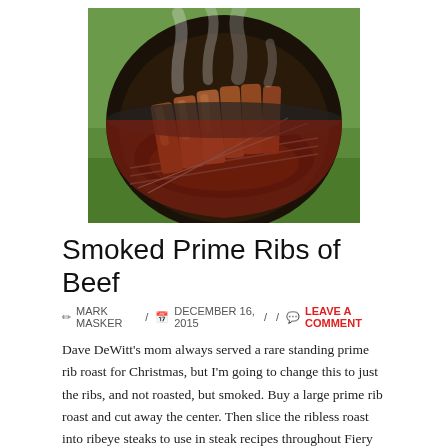[Figure (photo): Overhead view of beef ribs smoking on a round charcoal grill outdoors, with smoke rising, on green grass background.]
Smoked Prime Ribs of Beef
MARK MASKER / DECEMBER 16, 2015 / / LEAVE A COMMENT
Dave DeWitt’s mom always served a rare standing prime rib roast for Christmas, but I’m going to change this to just the ribs, and not roasted, but smoked. Buy a large prime rib roast and cut away the center. Then slice the ribless roast into ribeye steaks to use in steak recipes throughout Fiery Foods Central. Then slice the ribs apart so that more smoke will reach them. This recipe is from our book Barbecue Inferno. Note: This recipe requires